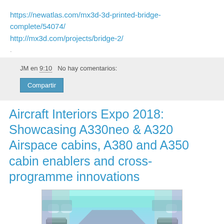https://newatlas.com/mx3d-3d-printed-bridge-complete/54074/
http://mx3d.com/projects/bridge-2/
JM en 9:10   No hay comentarios:
Compartir
Aircraft Interiors Expo 2018: Showcasing A330neo & A320 Airspace cabins, A380 and A350 cabin enablers and cross-programme innovations
[Figure (photo): Interior of an aircraft cabin showing purple/teal ambient lighting, overhead panels, windows, and passenger seats in rows]